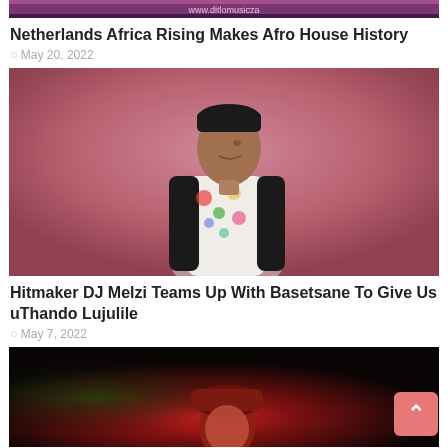[Figure (photo): Top partial image showing a colorful banner with website URL text]
Netherlands Africa Rising Makes Afro House History
May 20, 2022
[Figure (photo): Young man in a floral blazer standing against a pink/mauve background, looking to the side]
Hitmaker DJ Melzi Teams Up With Basetsane To Give Us uThando Lujulile
May 7, 2022
[Figure (photo): Person wearing a red cap lit with red lighting against a dark background]